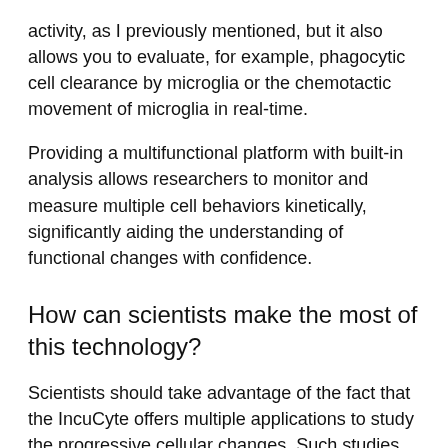activity, as I previously mentioned, but it also allows you to evaluate, for example, phagocytic cell clearance by microglia or the chemotactic movement of microglia in real-time.
Providing a multifunctional platform with built-in analysis allows researchers to monitor and measure multiple cell behaviors kinetically, significantly aiding the understanding of functional changes with confidence.
How can scientists make the most of this technology?
Scientists should take advantage of the fact that the IncuCyte offers multiple applications to study the progressive cellular changes. Such studies are necessary to characterize new models which